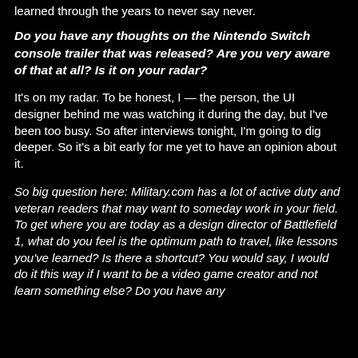learned through the years to never say never.
Do you have any thoughts on the Nintendo Switch console trailer that was released?  Are you very aware of that at all?  Is it on your radar?
It's on my radar.  To be honest, I — the person, the UI designer behind me was watching it during the day, but I've been too busy.  So after interviews tonight, I'm going to dig deeper.  So it's a bit early for me yet to have an opinion about it.
So big question here:  Military.com has a lot of active duty and veteran readers that may want to someday work in your field.  To get where you are today as a design director of Battlefield 1, what do you feel is the optimum path to travel, like lessons you've learned?  Is there a shortcut?  You would say, I would do it this way if I want to be a video game creator and not learn something else?  Do you have any